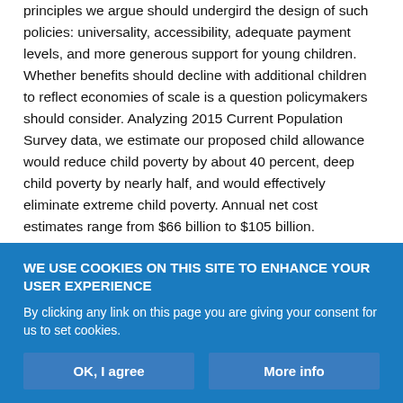principles we argue should undergird the design of such policies: universality, accessibility, adequate payment levels, and more generous support for young children. Whether benefits should decline with additional children to reflect economies of scale is a question policymakers should consider. Analyzing 2015 Current Population Survey data, we estimate our proposed child allowance would reduce child poverty by about 40 percent, deep child poverty by nearly half, and would effectively eliminate extreme child poverty. Annual net cost estimates range from $66 billion to $105 billion.
child poverty
child tax credit
income instability
social welfare policy
WE USE COOKIES ON THIS SITE TO ENHANCE YOUR USER EXPERIENCE
By clicking any link on this page you are giving your consent for us to set cookies.